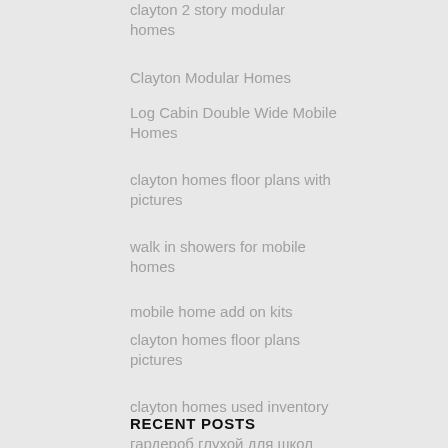clayton 2 story modular homes
Clayton Modular Homes
Log Cabin Double Wide Mobile Homes
clayton homes floor plans with pictures
walk in showers for mobile homes
mobile home add on kits
clayton homes floor plans pictures
clayton homes used inventory
RECENT POSTS
гардероб глухой для школ